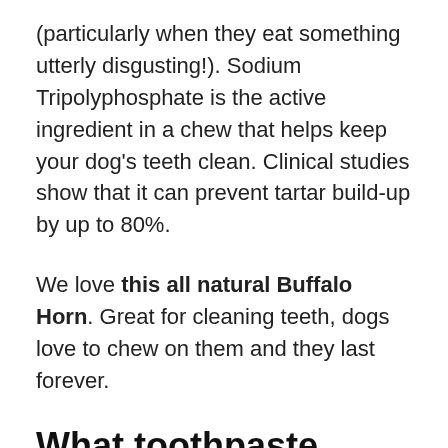(particularly when they eat something utterly disgusting!). Sodium Tripolyphosphate is the active ingredient in a chew that helps keep your dog's teeth clean. Clinical studies show that it can prevent tartar build-up by up to 80%.
We love this all natural Buffalo Horn. Great for cleaning teeth, dogs love to chew on them and they last forever.
What toothpaste should you use for your dog?